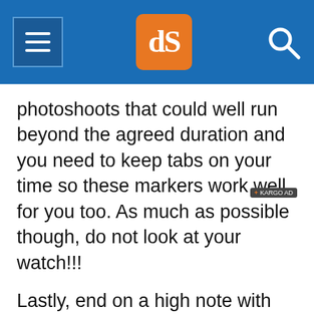dPS navigation logo and search
photoshoots that could well run beyond the agreed duration and you need to keep tabs on your time so these markers work well for you too. As much as possible though, do not look at your watch!!!
Lastly, end on a high note with lots of laughter if possible. If you achieve this, it greatly helps in reinforcing good photoshoot memories so that there will be a “next time” for another photoshoot with you! Your couple will look back at this day and remember good vibes, not so much the other trying parts like the weather